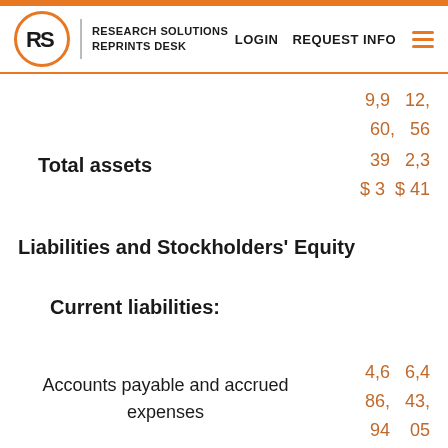Research Solutions Reprints Desk | LOGIN REQUEST INFO
9,9  12,
60,  56
39   2,3
$ 3  $ 41
Total assets
39   2,3
$ 3  $ 41
Liabilities and Stockholders' Equity
Current liabilities:
Accounts payable and accrued expenses
4,6  6,4
86,  43,
94   05
$ 6  $ 6
1,6  1,3
65,  35,